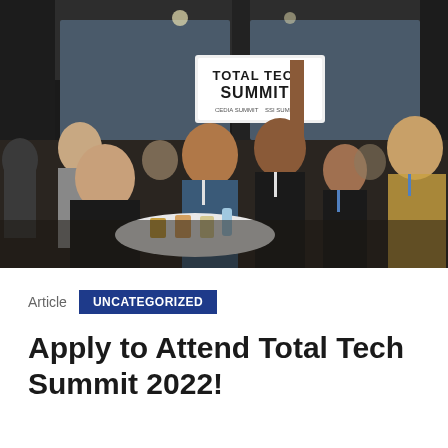[Figure (photo): Group of six people smiling and posing at a networking event, one person holding a 'Total Tech Summit' sign above their head. They are gathered around a round table with drinks. The setting appears to be a conference or summit venue.]
Article  UNCATEGORIZED
Apply to Attend Total Tech Summit 2022!